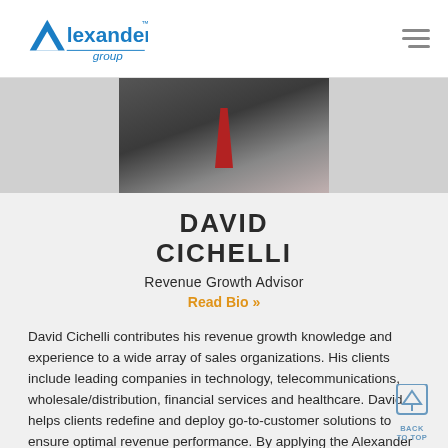Alexander Group logo and navigation
[Figure (photo): Portrait photo of David Cichelli wearing dark suit with red tie]
DAVID CICHELLI
Revenue Growth Advisor
Read Bio »
David Cichelli contributes his revenue growth knowledge and experience to a wide array of sales organizations. His clients include leading companies in technology, telecommunications, wholesale/distribution, financial services and healthcare. David helps clients redefine and deploy go-to-customer solutions to ensure optimal revenue performance. By applying the Alexander Group's